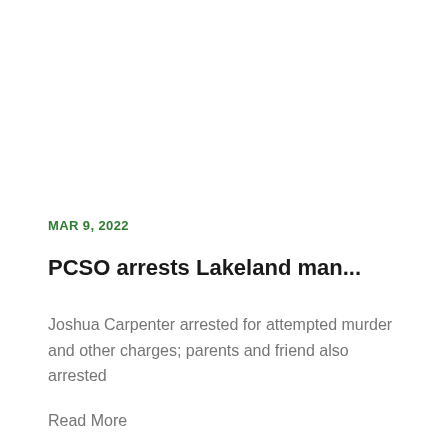MAR 9, 2022
PCSO arrests Lakeland man...
Joshua Carpenter arrested for attempted murder and other charges; parents and friend also arrested
Read More